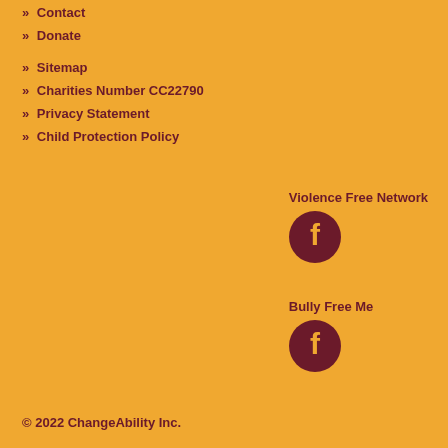» Contact
» Donate
» Sitemap
» Charities Number CC22790
» Privacy Statement
» Child Protection Policy
Violence Free Network
[Figure (logo): Facebook logo icon circle for Violence Free Network]
Bully Free Me
[Figure (logo): Facebook logo icon circle for Bully Free Me]
© 2022 ChangeAbility Inc.